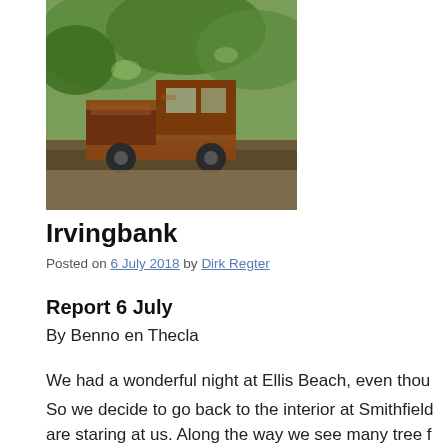[Figure (photo): Photograph of an old rusty vintage truck parked under green trees outdoors.]
Irvingbank
Posted on 6 July 2018 by Dirk Regter
Report 6 July
By Benno en Thecla
We had a wonderful night at Ellis Beach, even thou
So we decide to go back to the interior at Smithfield are staring at us. Along the way we see many tree back as if the dinosaurs are looking around the cor coffee, mango and banana plantations. The road is traffic, but also a lot of freight traffic and roadtrains.